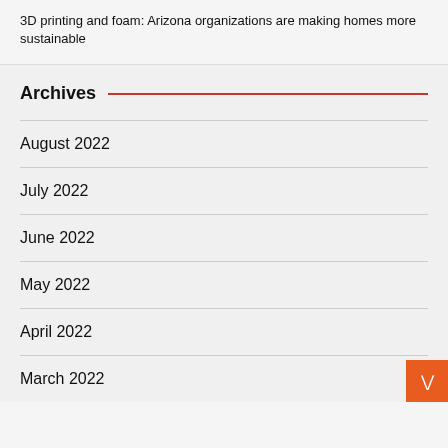3D printing and foam: Arizona organizations are making homes more sustainable
Archives
August 2022
July 2022
June 2022
May 2022
April 2022
March 2022